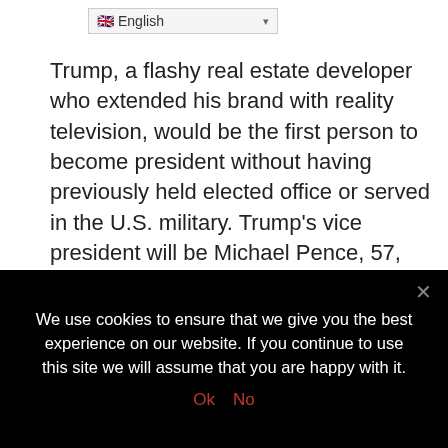English
Trump, a flashy real estate developer who extended his brand with reality television, would be the first person to become president without having previously held elected office or served in the U.S. military. Trump's vice president will be Michael Pence, 57, the governor of Indiana and previously a longtime member of the House.
Until polls closed on Tuesday, confidence in the Clinton campaign had been high that she would topple a barrier that has stood for nearly a century after women in the United States got the right to vote and be elected president. For her election night strat...
We use cookies to ensure that we give you the best experience on our website. If you continue to use this site we will assume that you are happy with it.